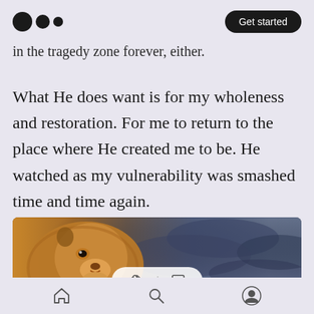Medium logo | Get started
in the tragedy zone forever, either.
What He does want is for my wholeness and restoration. For me to return to the place where He created me to be. He watched as my vulnerability was smashed time and time again.
[Figure (photo): A lion looking upward against a dramatic cloudy sky background, with an interactive reaction bar overlay showing clapping and comment icons.]
Home | Search | Profile navigation icons